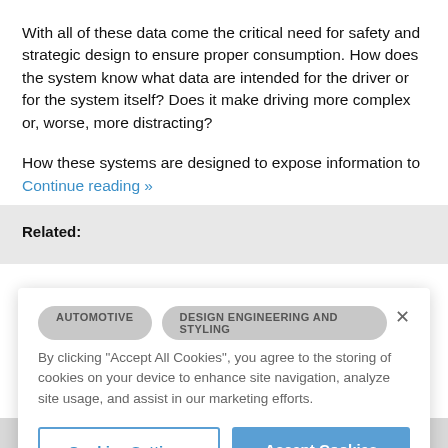With all of these data come the critical need for safety and strategic design to ensure proper consumption. How does the system know what data are intended for the driver or for the system itself? Does it make driving more complex or, worse, more distracting?
How these systems are designed to expose information to
Continue reading »
Related:
[Figure (screenshot): Cookie consent banner overlay with two category pills (AUTOMOTIVE, DESIGN ENGINEERING AND STYLING), a close X button, cookie consent text, and two buttons: Cookies Settings and Accept Cookies]